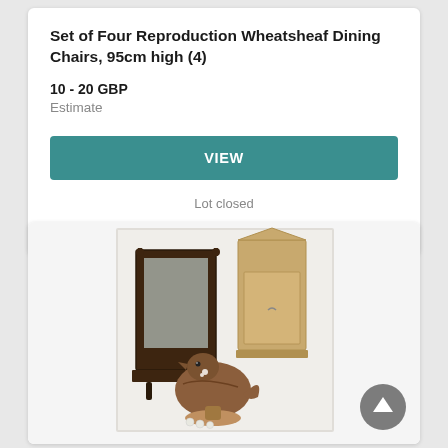Set of Four Reproduction Wheatsheaf Dining Chairs, 95cm high (4)
10 - 20 GBP
Estimate
VIEW
Lot closed
Lot location: JEDBURGH, Borders
[Figure (photo): Photo of antique items including a dark wood mirror frame, a light wood cabinet, and a bronze bird-shaped vessel with small decorative items.]